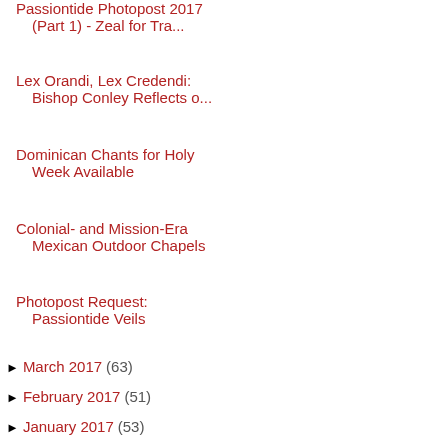Passiontide Photopost 2017 (Part 1) - Zeal for Tra...
Lex Orandi, Lex Credendi: Bishop Conley Reflects o...
Dominican Chants for Holy Week Available
Colonial- and Mission-Era Mexican Outdoor Chapels
Photopost Request: Passiontide Veils
► March 2017 (63)
► February 2017 (51)
► January 2017 (53)
► 2016 (721)
► 2015 (684)
► 2014 (709)
► 2013 (808)